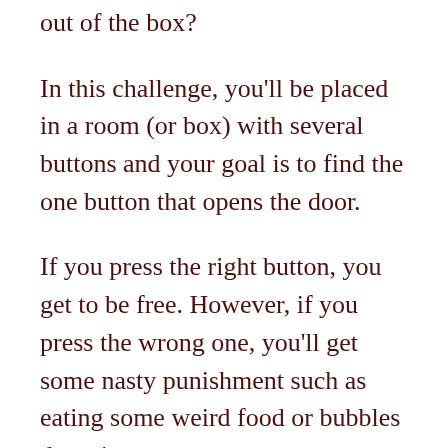out of the box?
In this challenge, you'll be placed in a room (or box) with several buttons and your goal is to find the one button that opens the door.
If you press the right button, you get to be free. However, if you press the wrong one, you'll get some nasty punishment such as eating some weird food or bubbles dropping on you.
Depending on your budget, you can get creative with the punishments. It sure will be